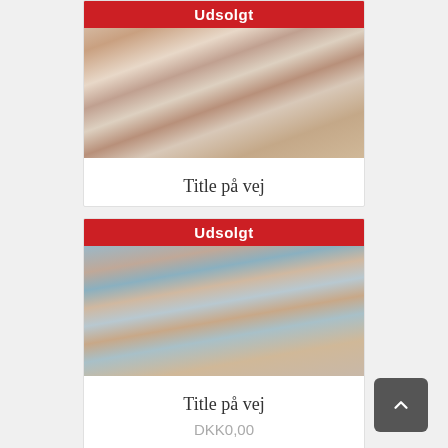[Figure (other): Product card showing a painting with red 'Udsolgt' (sold out) banner, an abstract figurative artwork, title 'Title på vej' and a details link]
Title på vej
≡ Detaljer
[Figure (other): Second product card showing another painting with red 'Udsolgt' (sold out) banner, an abstract figurative artwork, title 'Title på vej' and price DKK0,00]
Title på vej
DKK0,00